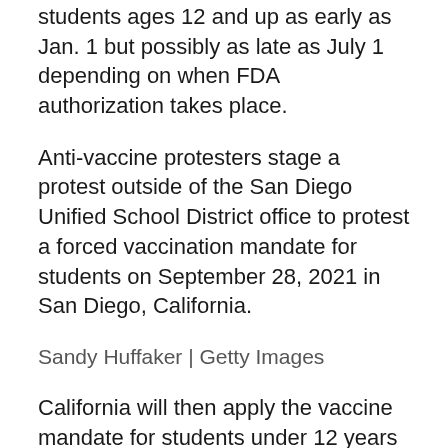students ages 12 and up as early as Jan. 1 but possibly as late as July 1 depending on when FDA authorization takes place.
Anti-vaccine protesters stage a protest outside of the San Diego Unified School District office to protest a forced vaccination mandate for students on September 28, 2021 in San Diego, California.
Sandy Huffaker | Getty Images
California will then apply the vaccine mandate for students under 12 years of age in a second phase after full FDA authorization takes place that age group. Pfizer submitted initial trial data to the FDA